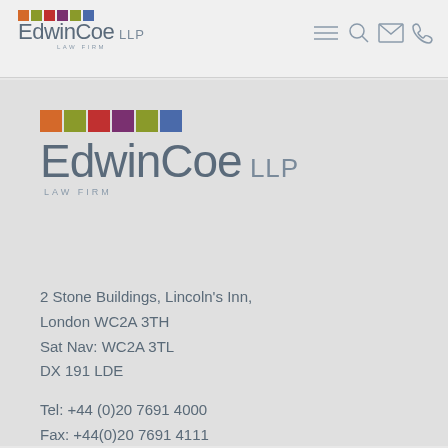[Figure (logo): Edwin Coe LLP Law Firm logo with colored squares in navigation bar]
[Figure (logo): Edwin Coe LLP Law Firm large logo with colored squares in main content area]
2 Stone Buildings, Lincoln's Inn,
London WC2A 3TH
Sat Nav: WC2A 3TL
DX 191 LDE
Tel: +44 (0)20 7691 4000
Fax: +44(0)20 7691 4111
Email: enquiries@edwincoe.com